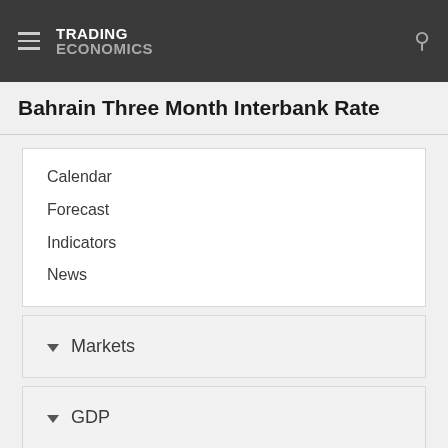TRADING ECONOMICS
Bahrain Three Month Interbank Rate
Calendar
Forecast
Indicators
News
Markets
GDP
Labour
Prices
Health